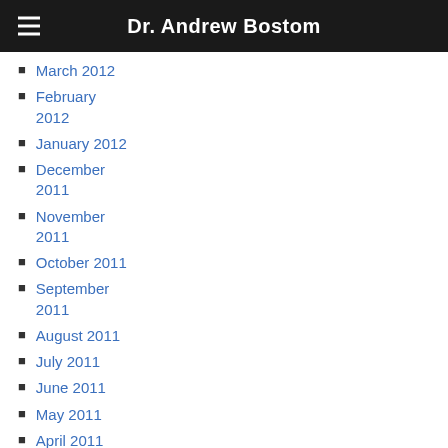Dr. Andrew Bostom
March 2012
February 2012
January 2012
December 2011
November 2011
October 2011
September 2011
August 2011
July 2011
June 2011
May 2011
April 2011
March 2011